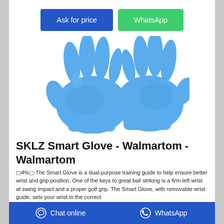[Figure (other): Two blue nitrile/latex gloves shown on white background - product photo for SKLZ Smart Glove]
SKLZ Smart Glove - Walmartom - Walmartom
╂4%│·The Smart Glove is a dual-purpose training guide to help ensure better wrist and grip position. One of the keys to great ball striking is a firm left wrist at swing impact and a proper golf grip. The Smart Glove, with removable wrist guide, sets your wrist in the correct
Chat online | WhatsApp